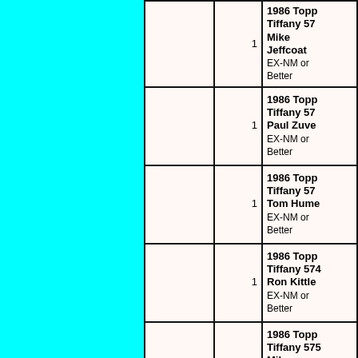| [image] | [qty] | Description |
| --- | --- | --- |
|  | 1 | 1986 Topps Tiffany 572 Mike Jeffcoat EX-NM or Better |
|  | 1 | 1986 Topps Tiffany 572 Paul Zuvella EX-NM or Better |
|  | 1 | 1986 Topps Tiffany 573 Tom Hume EX-NM or Better |
|  | 1 | 1986 Topps Tiffany 574 Ron Kittle EX-NM or Better |
|  | 1 | 1986 Topps Tiffany 575 Mike Boddicker EX-NM or Better |